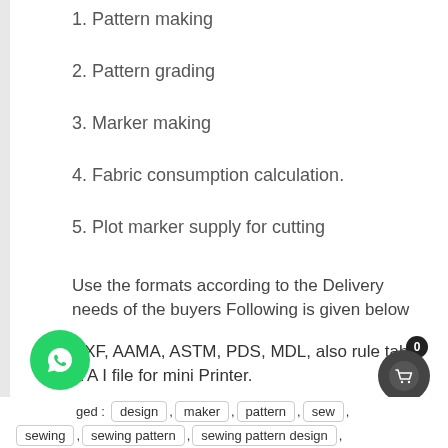1. Pattern making
2. Pattern grading
3. Marker making
4. Fabric consumption calculation.
5. Plot marker supply for cutting
Use the formats according to the Delivery needs of the buyers Following is given below
DXF, AAMA, ASTM, PDS, MDL, also rule table & A I file for mini Printer.
Tagged : design , maker , pattern , sew , sewing , sewing pattern , sewing pattern design ,